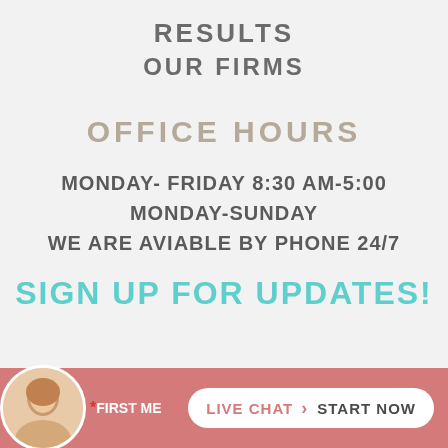RESULTS
OUR FIRMS
OFFICE HOURS
MONDAY- FRIDAY 8:30 AM-5:00
MONDAY-SUNDAY
WE ARE AVIABLE BY PHONE 24/7
SIGN UP FOR UPDATES!
*FIRST NAME
LIVE CHAT > START NOW